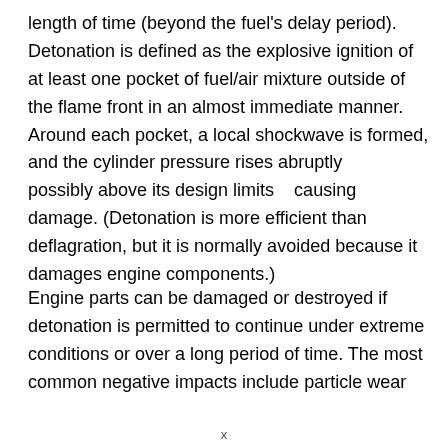length of time (beyond the fuel's delay period). Detonation is defined as the explosive ignition of at least one pocket of fuel/air mixture outside of the flame front in an almost immediate manner. Around each pocket, a local shockwave is formed, and the cylinder pressure rises abruptly    possibly above its design limits    causing damage. (Detonation is more efficient than deflagration, but it is normally avoided because it damages engine components.)
Engine parts can be damaged or destroyed if detonation is permitted to continue under extreme conditions or over a long period of time. The most common negative impacts include particle wear